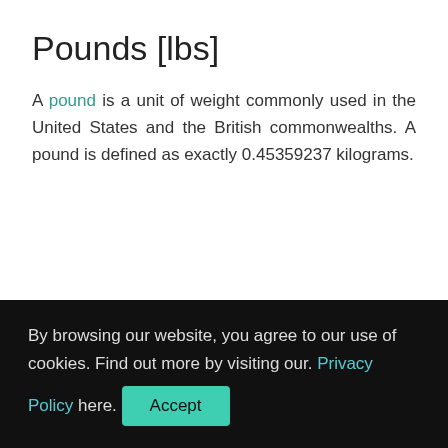Pounds [lbs]
A pound is a unit of weight commonly used in the United States and the British commonwealths. A pound is defined as exactly 0.45359237 kilograms.
By browsing our website, you agree to our use of cookies. Find out more by visiting our. Privacy Policy here. Accept